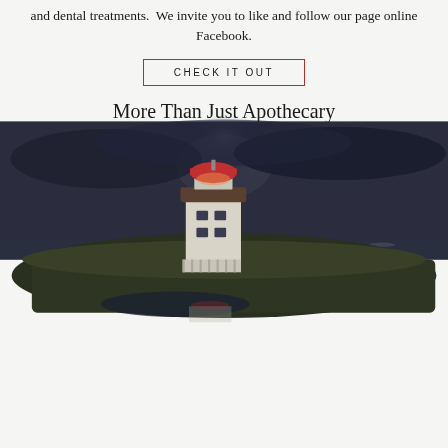and dental treatments. We invite you to like and follow our page online Facebook.
CHECK IT OUT
[Figure (photo): A white lighthouse building on a grassy rocky outcrop by the sea at night, with a red-topped lantern room, reflected in water below, under a dark dramatic sky.]
More Than Just Apothecary
Our website also features well known watercolor artists such